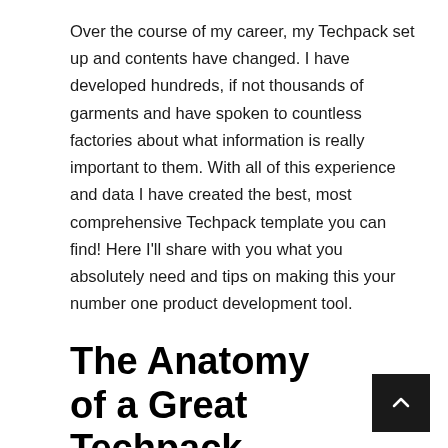Over the course of my career, my Techpack set up and contents have changed. I have developed hundreds, if not thousands of garments and have spoken to countless factories about what information is really important to them. With all of this experience and data I have created the best, most comprehensive Techpack template you can find! Here I'll share with you what you absolutely need and tips on making this your number one product development tool.
The Anatomy of a Great Techpack